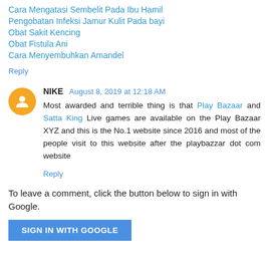Cara Mengatasi Sembelit Pada Ibu Hamil
Pengobatan Infeksi Jamur Kulit Pada bayi
Obat Sakit Kencing
Obat Fistula Ani
Cara Menyembuhkan Amandel
Reply
NIKE  August 8, 2019 at 12:18 AM
Most awarded and terrible thing is that Play Bazaar and Satta King Live games are available on the Play Bazaar XYZ and this is the No.1 website since 2016 and most of the people visit to this website after the playbazzar dot com website
Reply
To leave a comment, click the button below to sign in with Google.
SIGN IN WITH GOOGLE